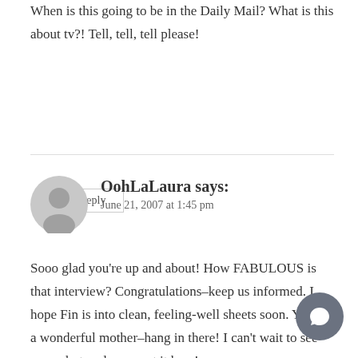When is this going to be in the Daily Mail? What is this about tv?! Tell, tell, tell please!
Reply
OohLaLaura says:
June 21, 2007 at 1:45 pm
Sooo glad you're up and about! How FABULOUS is that interview? Congratulations–keep us informed. I hope Fin is into clean, feeling-well sheets soon. You are a wonderful mother–hang in there! I can't wait to see your photo, please post it here!
Reply